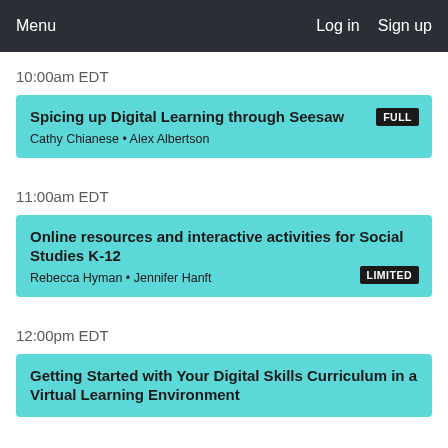Menu   Log in   Sign up
10:00am EDT
Spicing up Digital Learning through Seesaw
Cathy Chianese • Alex Albertson
[FULL]
11:00am EDT
Online resources and interactive activities for Social Studies K-12
Rebecca Hyman • Jennifer Hanft
[LIMITED]
12:00pm EDT
Getting Started with Your Digital Skills Curriculum in a Virtual Learning Environment
[badge]